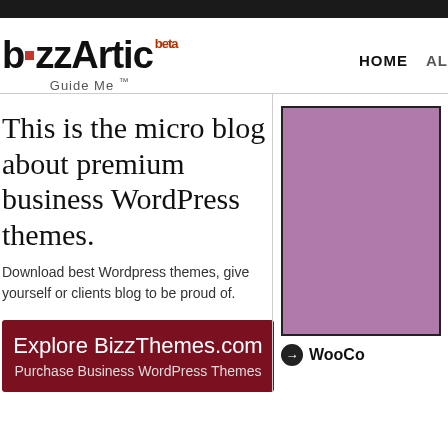[Figure (logo): BizzArtic beta logo with 'Guide Me TM' tagline]
HOME  AL
This is the micro blog about premium business WordPress themes.
Download best Wordpress themes, give yourself or clients blog to be proud of.
Explore BizzThemes.com
Purchase Business WordPress Themes
[Figure (illustration): Purple/mauve colored rectangle with black border]
WooCo